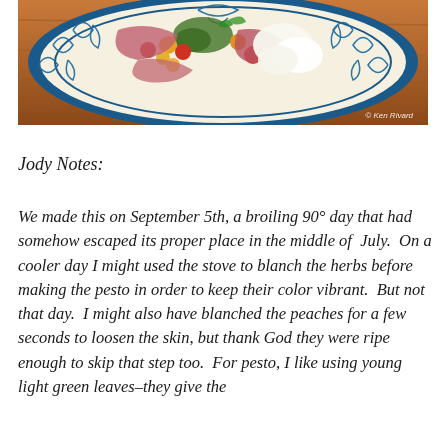[Figure (photo): Overhead photo of a decorative blue and white ceramic plate with a Mediterranean-style floral pattern on the rim, holding a salad or appetizer with tomatoes, prosciutto, burrata cheese, and herbs on a wooden table surface. Photo credit: © Ken Rivard]
Jody Notes:
We made this on September 5th, a broiling 90° day that had somehow escaped its proper place in the middle of July.  On a cooler day I might used the stove to blanch the herbs before making the pesto in order to keep their color vibrant.  But not that day.  I might also have blanched the peaches for a few seconds to loosen the skin, but thank God they were ripe enough to skip that step too.  For pesto, I like using young light green leaves–they give the